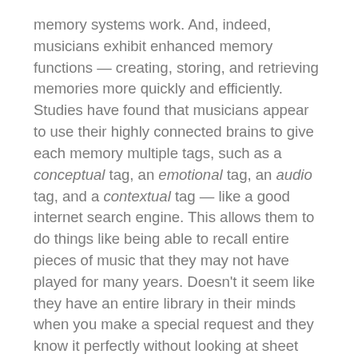memory systems work. And, indeed, musicians exhibit enhanced memory functions — creating, storing, and retrieving memories more quickly and efficiently. Studies have found that musicians appear to use their highly connected brains to give each memory multiple tags, such as a conceptual tag, an emotional tag, an audio tag, and a contextual tag — like a good internet search engine. This allows them to do things like being able to recall entire pieces of music that they may not have played for many years. Doesn't it seem like they have an entire library in their minds when you make a special request and they know it perfectly without looking at sheet music? Part of this is because of those emotional tags that they seem to effortlessly access "that library" at will.
When it comes to playing music and instruments, Night is Alive represents several of the jazz industries greatest. Learn more here and feel free to contact Kathy Salem with